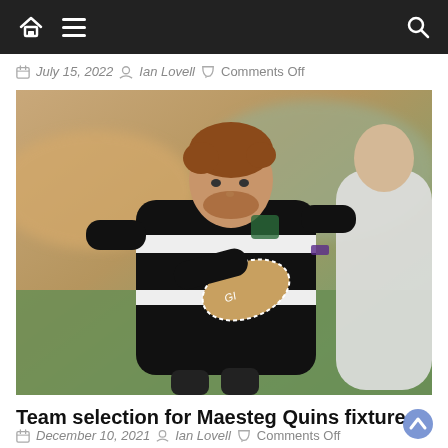Navigation bar with home icon, hamburger menu, and search icon
July 15, 2022  Ian Lovell  Comments Off
[Figure (photo): Rugby player in black and white striped jersey carrying a ball and being tackled by another player in similar kit, action shot on a rugby pitch]
Team selection for Maesteg Quins fixture
December 10, 2021  Ian Lovell  Comments Off